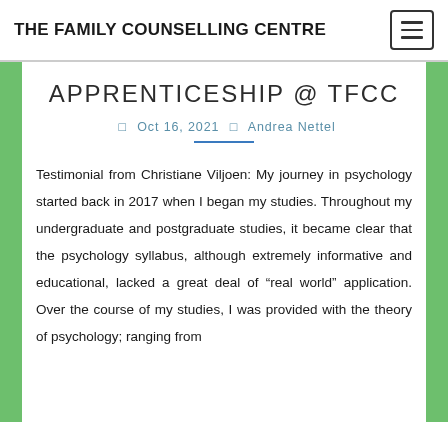THE FAMILY COUNSELLING CENTRE
APPRENTICESHIP @ TFCC
Oct 16, 2021 | Andrea Nettel
Testimonial from Christiane Viljoen: My journey in psychology started back in 2017 when I began my studies. Throughout my undergraduate and postgraduate studies, it became clear that the psychology syllabus, although extremely informative and educational, lacked a great deal of “real world” application. Over the course of my studies, I was provided with the theory of psychology; ranging from